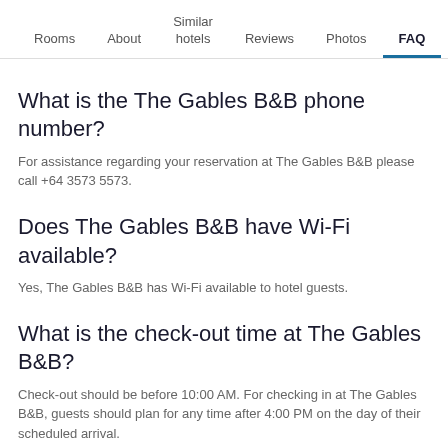Rooms | About | Similar hotels | Reviews | Photos | FAQ
What is the The Gables B&B phone number?
For assistance regarding your reservation at The Gables B&B please call +64 3573 5573.
Does The Gables B&B have Wi-Fi available?
Yes, The Gables B&B has Wi-Fi available to hotel guests.
What is the check-out time at The Gables B&B?
Check-out should be before 10:00 AM. For checking in at The Gables B&B, guests should plan for any time after 4:00 PM on the day of their scheduled arrival.